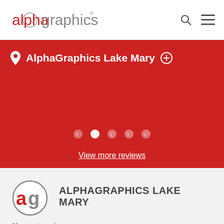[Figure (logo): AlphaGraphics logo with red 'alpha' and grey 'graphics' text]
AlphaGraphics Lake Mary
[Figure (infographic): Red banner with location name 'AlphaGraphics Lake Mary', carousel dots, and 'View more reviews' link]
View more reviews
[Figure (logo): AlphaGraphics 'ag' circular logo]
ALPHAGRAPHICS LAKE MARY
Change Location
AlphaGraphics Headquarters